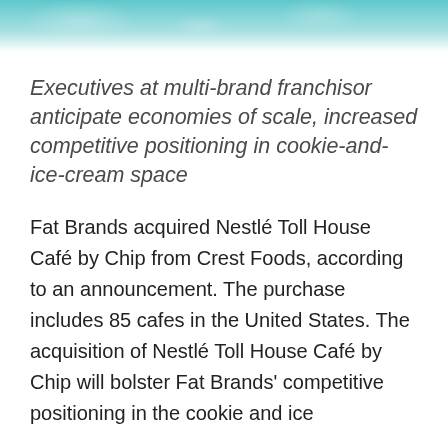[Figure (photo): Teal/turquoise decorative header image with abstract texture pattern]
Executives at multi-brand franchisor anticipate economies of scale, increased competitive positioning in cookie-and-ice-cream space
Fat Brands acquired Nestlé Toll House Café by Chip from Crest Foods, according to an announcement. The purchase includes 85 cafes in the United States. The acquisition of Nestlé Toll House Café by Chip will bolster Fat Brands' competitive positioning in the cookie and ice